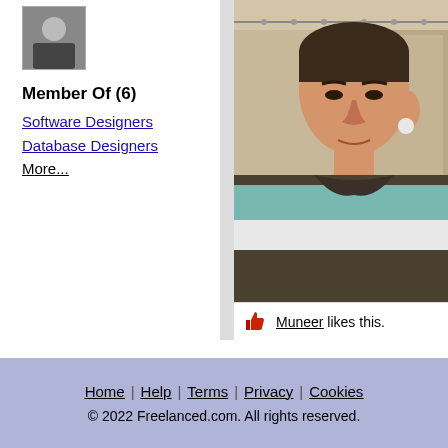[Figure (photo): Small avatar thumbnail of a person in dark clothing]
Member Of (6)
Software Designers
Database Designers
More...
[Figure (photo): Profile photo of a young man wearing a striped teal and brown shirt, taken indoors]
Muneer likes this.
Home | Help | Terms | Privacy | Cookies
© 2022 Freelanced.com.  All rights reserved.